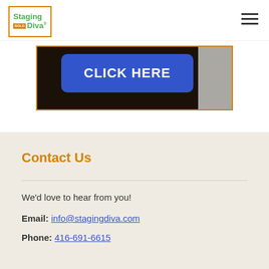Staging Diva® — navigation header with hamburger menu
[Figure (screenshot): Blue 'CLICK HERE' button banner image with orange border]
Contact Us
We'd love to hear from you!
Email: info@stagingdiva.com
Phone: 416-691-6615